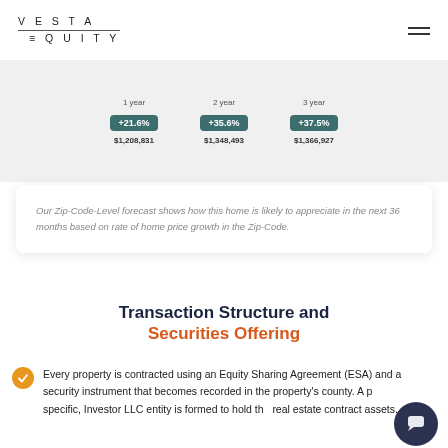VESTA EQUITY
[Figure (infographic): Forecast comparison showing 1 year +21.6% $1,208,831, 2 year +35.6% $1,348,493, 3 year +37.5% $1,366,927]
Our Zip-Code-Level forecast shows how this home is likely to appreciate in the next 36 months based on rate of home price growth in the Zip-Code.
Transaction Structure and Securities Offering
Every property is contracted using an Equity Sharing Agreement (ESA) and a security instrument that becomes recorded in the property's county. A property specific, Investor LLC entity is formed to hold the real estate contract assets.